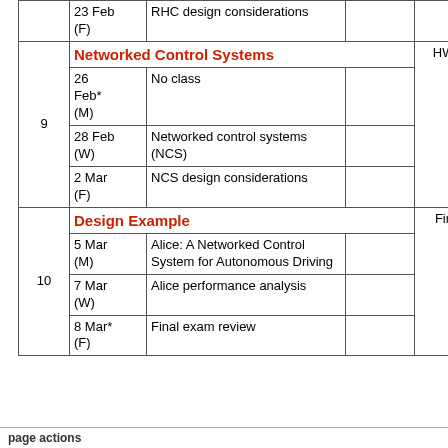| Week | Date | Topic | Reading | HW |
| --- | --- | --- | --- | --- |
|  | 23 Feb (F) | RHC design considerations |  |  |
|  | Networked Control Systems |  |  |  |
| 9 | 26 Feb* (M) | No class |  |  |
|  | 28 Feb (W) | Networked control systems (NCS) |  | HW 8 |
|  | 2 Mar (F) | NCS design considerations |  |  |
|  | Design Example |  |  |  |
| 10 | 5 Mar (M) | Alice: A Networked Control System for Autonomous Driving |  |  |
|  | 7 Mar (W) | Alice performance analysis |  | Final |
|  | 8 Mar* (F) | Final exam review |  |  |
page actions